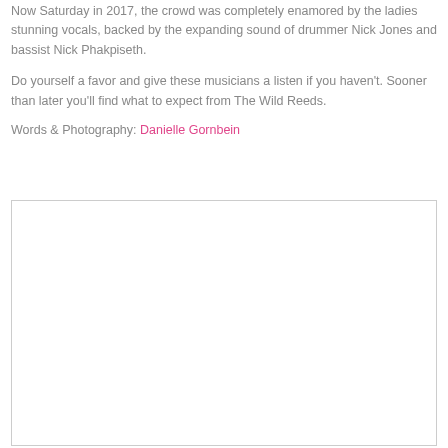Now Saturday in 2017, the crowd was completely enamored by the ladies stunning vocals, backed by the expanding sound of drummer Nick Jones and bassist Nick Phakpiseth.
Do yourself a favor and give these musicians a listen if you haven't. Sooner than later you'll find what to expect from The Wild Reeds.
Words & Photography: Danielle Gornbein
[Figure (photo): A blank/white photograph placeholder with a light border.]